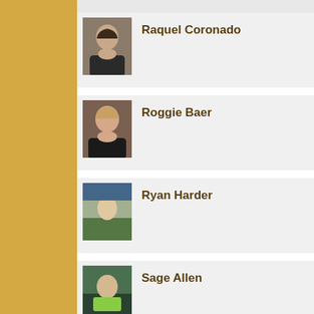Raquel Coronado
Roggie Baer
Ryan Harder
Sage Allen
Sara Berner
Sara Victor